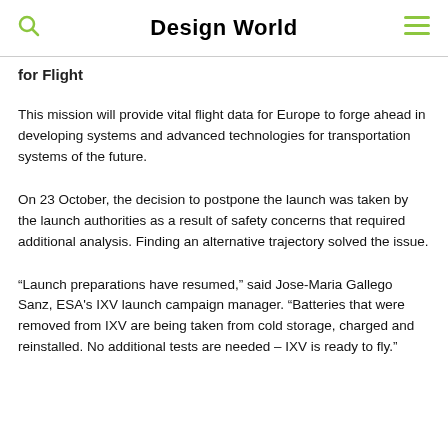Design World
for Flight
This mission will provide vital flight data for Europe to forge ahead in developing systems and advanced technologies for transportation systems of the future.
On 23 October, the decision to postpone the launch was taken by the launch authorities as a result of safety concerns that required additional analysis. Finding an alternative trajectory solved the issue.
“Launch preparations have resumed,” said Jose-Maria Gallego Sanz, ESA's IXV launch campaign manager. “Batteries that were removed from IXV are being taken from cold storage, charged and reinstalled. No additional tests are needed – IXV is ready to fly.”